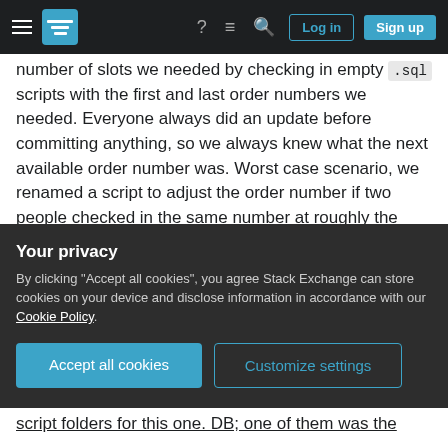Stack Exchange navigation bar with hamburger menu, logo, help icon, chat icon, search icon, Log in button, and Sign up button
number of slots we needed by checking in empty .sql scripts with the first and last order numbers we needed. Everyone always did an update before committing anything, so we always knew what the next available order number was. Worst case scenario, we renamed a script to adjust the order number if two people checked in the same number at roughly the same time (but again, this was quite infrequent, even with 10 of us constantly checking stuff in).
One tricky thing was managing the Linked Servers
Your privacy
By clicking "Accept all cookies", you agree Stack Exchange can store cookies on your device and disclose information in accordance with our Cookie Policy.
Accept all cookies   Customize settings
script folders for this one. DB; one of them was the